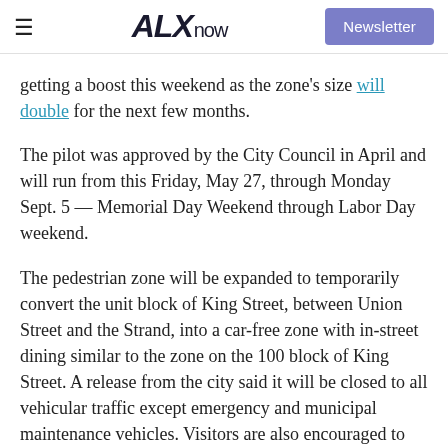ALXnow | Newsletter
getting a boost this weekend as the zone's size will double for the next few months.
The pilot was approved by the City Council in April and will run from this Friday, May 27, through Monday Sept. 5 — Memorial Day Weekend through Labor Day weekend.
The pedestrian zone will be expanded to temporarily convert the unit block of King Street, between Union Street and the Strand, into a car-free zone with in-street dining similar to the zone on the 100 block of King Street. A release from the city said it will be closed to all vehicular traffic except emergency and municipal maintenance vehicles. Visitors are also encouraged to walk their bicycles and scooters in the area.